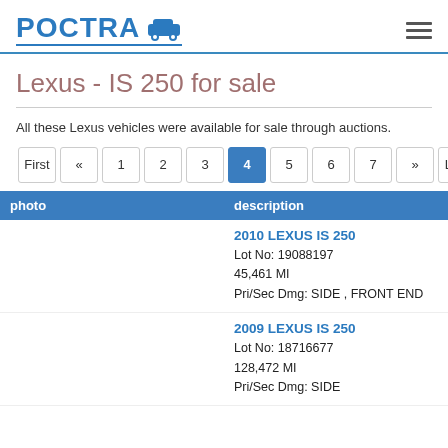POCTRA [car icon]
Lexus - IS 250 for sale
All these Lexus vehicles were available for sale through auctions.
Pagination: First « 1 2 3 4 5 6 7 » Last
| photo | description |
| --- | --- |
|  | 2010 LEXUS IS 250
Lot No: 19088197
45,461 MI
Pri/Sec Dmg: SIDE , FRONT END |
|  | 2009 LEXUS IS 250
Lot No: 18716677
128,472 MI
Pri/Sec Dmg: SIDE |